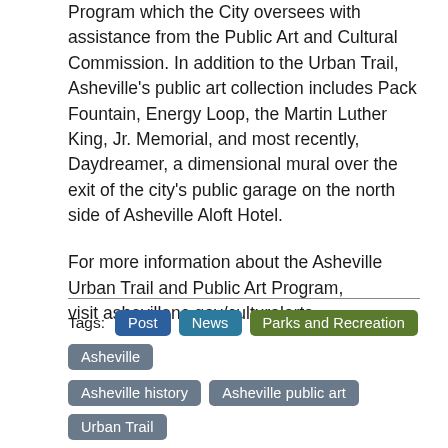Program which the City oversees with assistance from the Public Art and Cultural Commission. In addition to the Urban Trail, Asheville’s public art collection includes Pack Fountain, Energy Loop, the Martin Luther King, Jr. Memorial, and most recently, Daydreamer, a dimensional mural over the exit of the city’s public garage on the north side of Asheville Aloft Hotel.
For more information about the Asheville Urban Trail and Public Art Program,
visit ashevillenc.gov/culturalarts.
Tags: Post News Parks and Recreation Asheville Asheville history Asheville public art Urban Trail